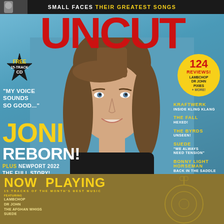SMALL FACES THEIR GREATEST SONGS
UNCUT
[Figure (photo): Portrait photo of Joni Mitchell on blue background, woman with long brown hair smiling]
FREE 15-TRACK CD
124 REVIEWS! LAMBCHOP DR JOHN PIXIES + MORE!
"MY VOICE SOUNDS SO GOOD..."
JONI
REBORN!
PLUS NEWPORT 2022 THE FULL STORY!
KRAFTWERK INSIDE KLING KLANG
THE FALL HEXED!
THE BYRDS UNSEEN!
SUEDE "WE ALWAYS NEED TENSION"
BONNY LIGHT HORSEMAN BACK IN THE SADDLE
GREG DULLI THE AFGHAN WHIGS, MARK LANEGAN AND ME
NOW PLAYING
15 TRACKS OF THE MONTH'S BEST MUSIC
Featuring LAMBCHOP DR JOHN THE AFGHAN WHIGS SUEDE